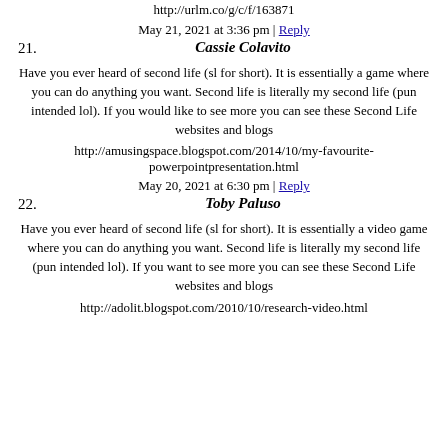http://urlm.co/g/c/f/163871
May 21, 2021 at 3:36 pm | Reply
21. Cassie Colavito
Have you ever heard of second life (sl for short). It is essentially a game where you can do anything you want. Second life is literally my second life (pun intended lol). If you would like to see more you can see these Second Life websites and blogs
http://amusingspace.blogspot.com/2014/10/my-favourite-powerpointpresentation.html
May 20, 2021 at 6:30 pm | Reply
22. Toby Paluso
Have you ever heard of second life (sl for short). It is essentially a video game where you can do anything you want. Second life is literally my second life (pun intended lol). If you want to see more you can see these Second Life websites and blogs
http://adolit.blogspot.com/2010/10/research-video.html